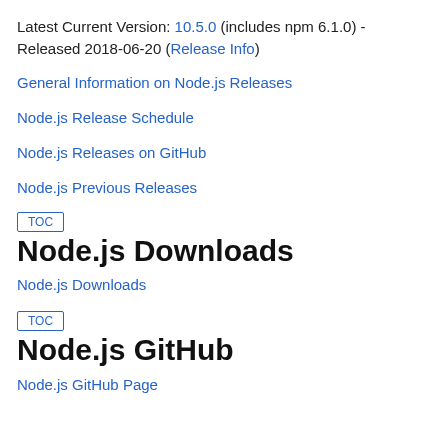Latest Current Version: 10.5.0 (includes npm 6.1.0) - Released 2018-06-20 (Release Info)
General Information on Node.js Releases
Node.js Release Schedule
Node.js Releases on GitHub
Node.js Previous Releases
Node.js Downloads
Node.js Downloads
Node.js GitHub
Node.js GitHub Page